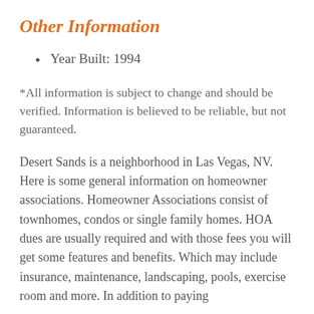Other Information
Year Built: 1994
*All information is subject to change and should be verified. Information is believed to be reliable, but not guaranteed.
Desert Sands is a neighborhood in Las Vegas, NV. Here is some general information on homeowner associations. Homeowner Associations consist of townhomes, condos or single family homes. HOA dues are usually required and with those fees you will get some features and benefits. Which may include insurance, maintenance, landscaping, pools, exercise room and more. In addition to paying